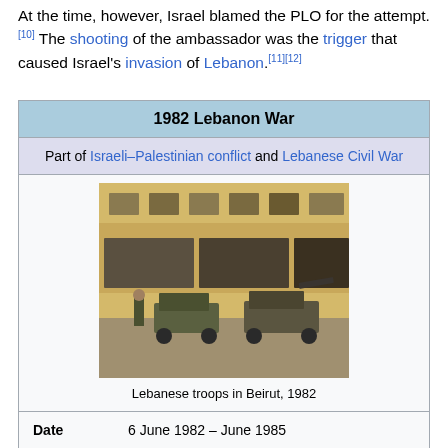At the time, however, Israel blamed the PLO for the attempt.[10] The shooting of the ambassador was the trigger that caused Israel's invasion of Lebanon.[11][12]
| 1982 Lebanon War |
| --- |
| Part of Israeli–Palestinian conflict and Lebanese Civil War |
| [photo] Lebanese troops in Beirut, 1982 |
| Date | 6 June 1982 – June 1985 |
| Location | southern Lebanon |